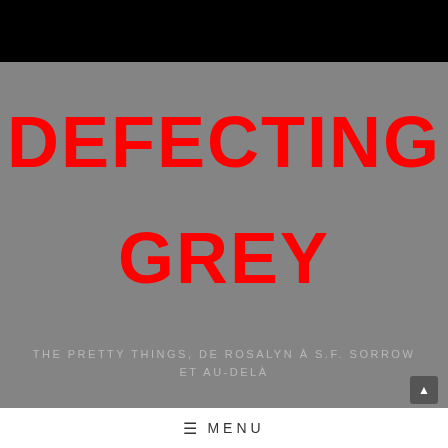DEFECTING GREY
THE PRETTY THINGS, DE ROSALYN À S.F. SORROW ET AU-DELÀ
≡ MENU